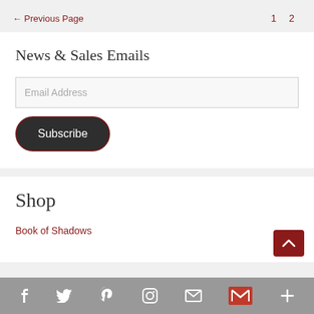← Previous Page    1    2
News & Sales Emails
Email Address
Subscribe
Shop
Book of Shadows
Social icons: Facebook, Twitter, Pinterest, Instagram, Mail, Gmail, More